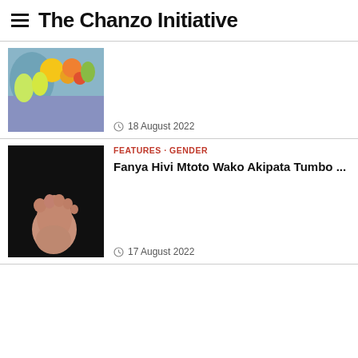The Chanzo Initiative
[Figure (photo): Thumbnail photo showing flowers with yellow and colorful arrangement]
18 August 2022
FEATURES · GENDER
Fanya Hivi Mtoto Wako Akipata Tumbo ...
[Figure (photo): Thumbnail photo of a baby foot against a black background]
17 August 2022